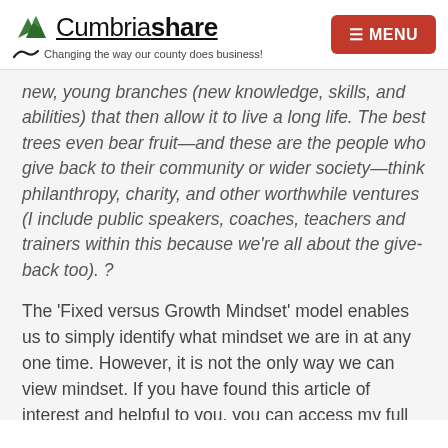Cumbriashare — Changing the way our county does business! [MENU]
new, young branches (new knowledge, skills, and abilities) that then allow it to live a long life. The best trees even bear fruit—and these are the people who give back to their community or wider society—think philanthropy, charity, and other worthwhile ventures (I include public speakers, coaches, teachers and trainers within this because we're all about the give-back too). ?
The 'Fixed versus Growth Mindset' model enables us to simply identify what mindset we are in at any one time. However, it is not the only way we can view mindset. If you have found this article of interest and helpful to you, you can access my full pdf text on this and the rest of the success